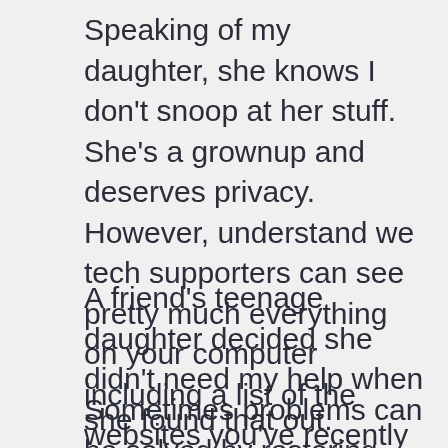Speaking of my daughter, she knows I don't snoop at her stuff. She's a grownup and deserves privacy. However, understand we tech supporters can see pretty much everything on your computer including a list of the websites you've recently visited.
A friend's teenage daughter decided she didn't need my help when she found that out.
Sometimes problems can be solved by restoring. It's a function built into